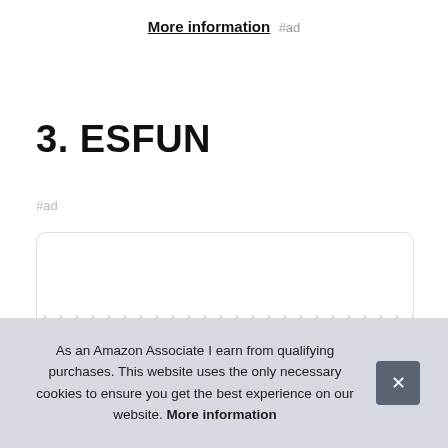More information #ad
3. ESFUN
#ad
[Figure (other): Product image box with zigzag striped pattern at top and bottom, white interior background, rounded border.]
As an Amazon Associate I earn from qualifying purchases. This website uses the only necessary cookies to ensure you get the best experience on our website. More information